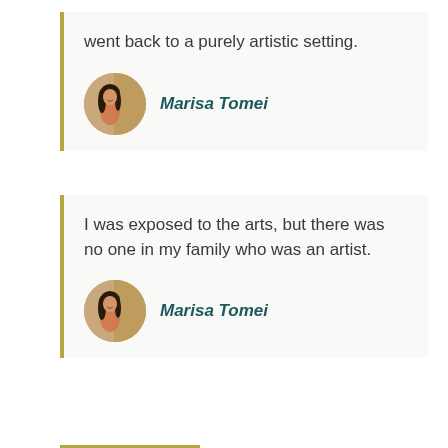went back to a purely artistic setting.
Marisa Tomei
I was exposed to the arts, but there was no one in my family who was an artist.
Marisa Tomei